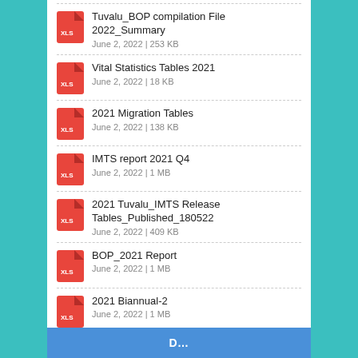Tuvalu_BOP compilation File 2022_Summary
June 2, 2022  |  253 KB
Vital Statistics Tables 2021
June 2, 2022  |  18 KB
2021 Migration Tables
June 2, 2022  |  138 KB
IMTS report 2021 Q4
June 2, 2022  |  1 MB
2021 Tuvalu_IMTS Release Tables_Published_180522
June 2, 2022  |  409 KB
BOP_2021 Report
June 2, 2022  |  1 MB
2021 Biannual-2
June 2, 2022  |  1 MB
CPI Tables 2021 Q4
May 18, 2022  |  23 KB